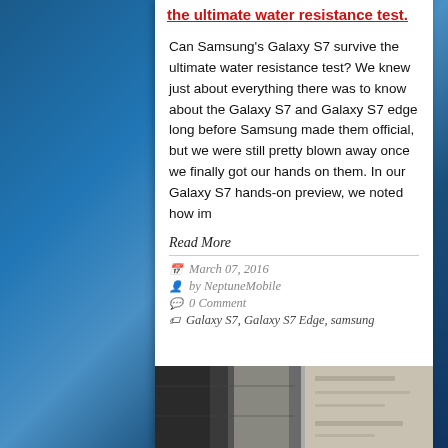the ultimate water resistance test.
Can Samsung's Galaxy S7 survive the ultimate water resistance test? We knew just about everything there was to know about the Galaxy S7 and Galaxy S7 edge long before Samsung made them official, but we were still pretty blown away once we finally got our hands on them. In our Galaxy S7 hands-on preview, we noted how im
Read More
March 07, 2016
by NeptuneMobile
0 Comment
Galaxy S7, Galaxy S7 Edge, samsung
[Figure (photo): Photo of Samsung Galaxy S7 device, dark background with partial device image visible]